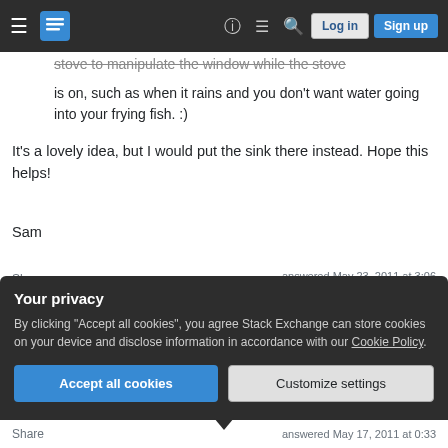Stack Exchange navigation bar with hamburger menu, logo, help, chat, search icons, Log in and Sign up buttons
stove to manipulate the window while the stove is on, such as when it rains and you don't want water going into your frying fish. :)
It's a lovely idea, but I would put the sink there instead. Hope this helps!
Sam
Share
Improve this answer
Follow
answered May 23, 2011 at 3:06
Sam
161  3
Your privacy
By clicking "Accept all cookies", you agree Stack Exchange can store cookies on your device and disclose information in accordance with our Cookie Policy.
Accept all cookies
Customize settings
Share
answered May 17, 2011 at 0:33